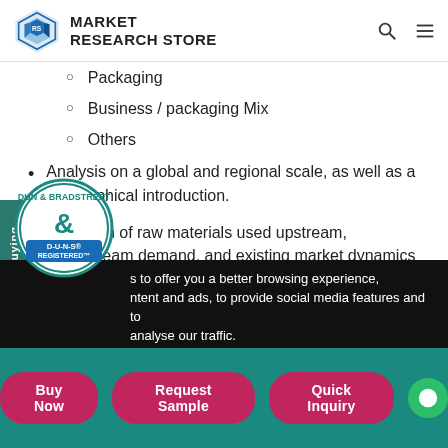Market Research Store
Packaging
Business / packaging Mix
Others
Analysis on a global and regional scale, as well as a geographical introduction.
Research of raw materials used upstream, downstream demand, and existing market dynamics is performed.
s to offer you a better browsing experience, ntent and ads, to provide social media features and to analyse our traffic.
Buy Now | Request Sample | Quick Inquiry